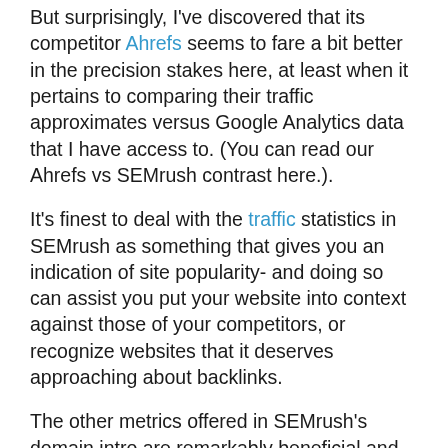But surprisingly, I've discovered that its competitor Ahrefs seems to fare a bit better in the precision stakes here, at least when it pertains to comparing their traffic approximates versus Google Analytics data that I have access to. (You can read our Ahrefs vs SEMrush contrast here.).
It's finest to deal with the traffic statistics in SEMrush as something that gives you an indication of site popularity- and doing so can assist you put your website into context against those of your competitors, or recognize websites that it deserves approaching about backlinks.
The other metrics offered in SEMrush's domain intro are remarkably beneficial and